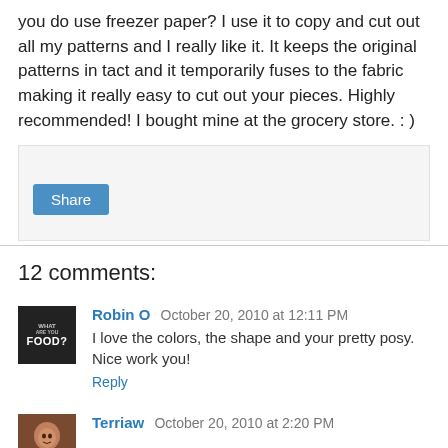you do use freezer paper?  I use it to copy and cut out all my patterns and I really like it.  It keeps the original patterns in tact and it temporarily fuses to the fabric making it really easy to cut out your pieces.  Highly recommended!  I bought mine at the grocery store.  : )
[Figure (screenshot): Share button widget area with light gray background]
12 comments:
Robin O  October 20, 2010 at 12:11 PM
I love the colors, the shape and your pretty posy. Nice work you!
Reply
Terriaw  October 20, 2010 at 2:20 PM